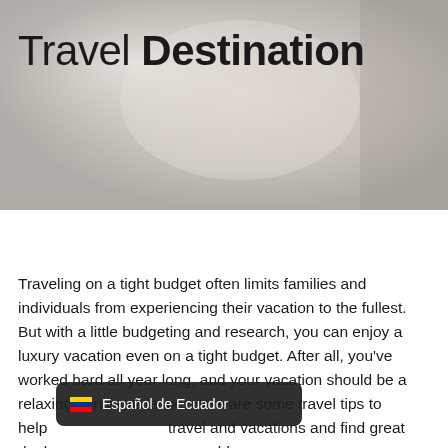[Figure (photo): Blurred light-beige and silver background photo (travel/luxury themed), partially cropped at top]
Travel Destination
Traveling on a tight budget often limits families and individuals from experiencing their vacation to the fullest. But with a little budgeting and research, you can enjoy a luxury vacation even on a tight budget. After all, you've worked hard all year long, and your vacation should be a relaxing, fun experience. Here are some travel tips to help ... travel and vacations and find great deals ... the world,